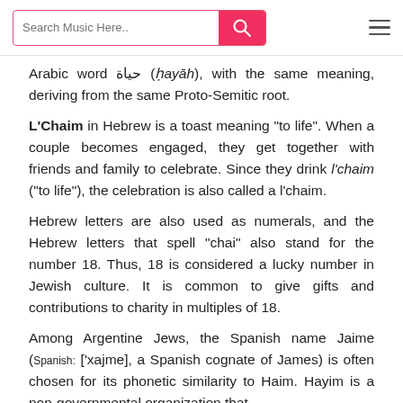Search Music Here..
Arabic word حياة (ḥayāh), with the same meaning, deriving from the same Proto-Semitic root.
L'Chaim in Hebrew is a toast meaning "to life". When a couple becomes engaged, they get together with friends and family to celebrate. Since they drink l'chaim ("to life"), the celebration is also called a l'chaim.
Hebrew letters are also used as numerals, and the Hebrew letters that spell "chai" also stand for the number 18. Thus, 18 is considered a lucky number in Jewish culture. It is common to give gifts and contributions to charity in multiples of 18.
Among Argentine Jews, the Spanish name Jaime (Spanish: ['xajme], a Spanish cognate of James) is often chosen for its phonetic similarity to Haim. Hayim is a non-governmental organization that